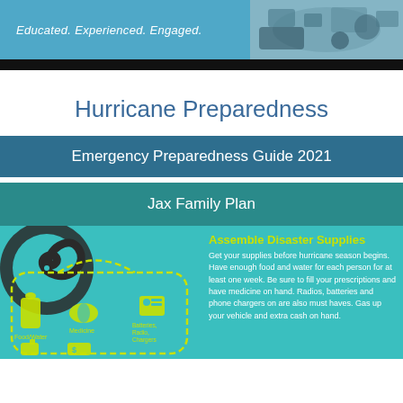[Figure (photo): Header banner with blue background showing text 'Educated. Experienced. Engaged.' and a photo of equipment/instruments on the right, with a black bar at the bottom]
Hurricane Preparedness
Emergency Preparedness Guide 2021
Jax Family Plan
[Figure (infographic): Teal background infographic showing a hurricane icon, a disaster supply bag with icons for Food/Water, Medicine, Batteries/Radio/Chargers, gas, and cash. Right side has bold yellow heading 'Assemble Disaster Supplies' with white text: 'Get your supplies before hurricane season begins. Have enough food and water for each person for at least one week. Be sure to fill your prescriptions and have medicine on hand. Radios, batteries and phone chargers on are also must haves. Gas up your vehicle and extra cash on hand.']